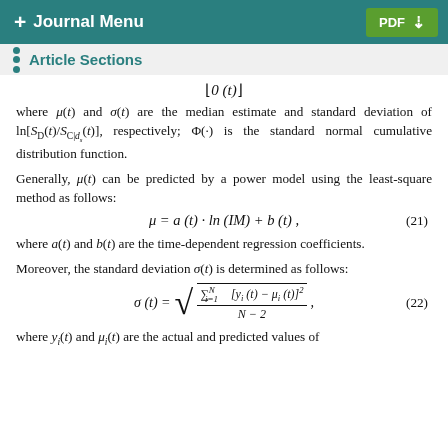+ Journal Menu   PDF
Article Sections
where μ(t) and σ(t) are the median estimate and standard deviation of ln[S_D(t)/S_{C|d_s}(t)], respectively; Φ(·) is the standard normal cumulative distribution function.
Generally, μ(t) can be predicted by a power model using the least-square method as follows:
where a(t) and b(t) are the time-dependent regression coefficients.
Moreover, the standard deviation σ(t) is determined as follows:
where y_i(t) and μ_i(t) are the actual and predicted values of ln[S_D(t)/S_{C|d_s}(t)], respectively; N represents the number of...